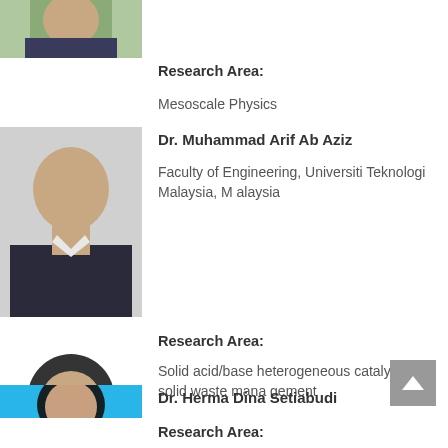[Figure (photo): Partial photo of a person at top of page]
Research Area:
Mesoscale Physics
[Figure (photo): Photo of Dr. Muhammad Arif Ab Aziz, a man in a dark suit]
Dr. Muhammad Arif Ab Aziz
Faculty of Engineering, Universiti Teknologi Malaysia, Malaysia
Research Area:
Solid acid/base heterogeneous catalysts, solid waste management
[Figure (photo): Photo of Dr. Herma Dina Setiabudi, a woman wearing a black hijab]
Dr. Herma Dina Setiabudi
Universiti Malaysia Pahang, Malaysia
Research Area: